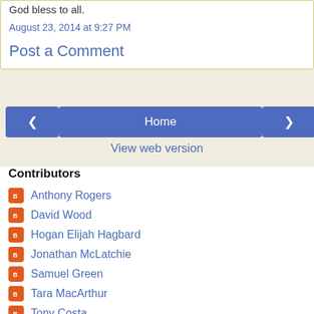God bless to all.
August 23, 2014 at 9:27 PM
Post a Comment
Home
View web version
Contributors
Anthony Rogers
David Wood
Hogan Elijah Hagbard
Jonathan McLatchie
Samuel Green
Tara MacArthur
Tony Costa
Unknown